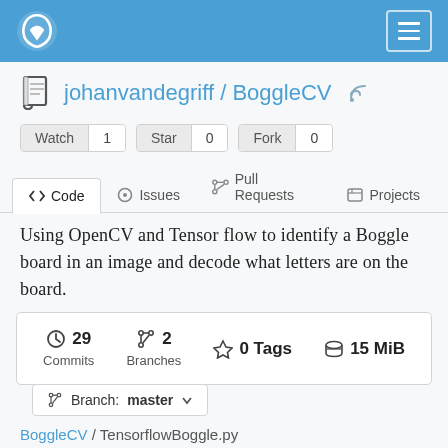johanvandegriff / BoggleCV — GitHub navigation bar
johanvandegriff / BoggleCV
Watch 1  Star 0  Fork 0
<> Code   Issues   Pull Requests   Projects
Using OpenCV and Tensorflow to identify a Boggle board in an image and decode what letters are on the board.
29 Commits   2 Branches   0 Tags   15 MiB
Branch: master
BoggleCV / TensorflowBoggle.py